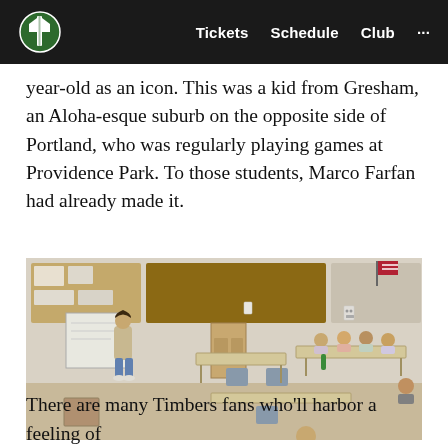Tickets  Schedule  Club  ...
year-old as an icon. This was a kid from Gresham, an Aloha-esque suburb on the opposite side of Portland, who was regularly playing games at Providence Park. To those students, Marco Farfan had already made it.
[Figure (photo): A young man in a beige hoodie and jeans stands at the front of a classroom next to a whiteboard, speaking to a group of students seated around tables arranged in a U-shape. The classroom has bulletin boards and bookshelves in the background.]
There are many Timbers fans who'll harbor a feeling of